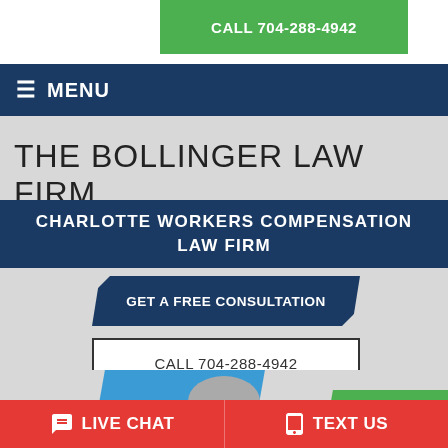CALL 704-288-4942
≡ MENU
THE BOLLINGER LAW FIRM
CHARLOTTE WORKERS COMPENSATION LAW FIRM
GET A FREE CONSULTATION
CALL 704-288-4942
[Figure (photo): Partial view of a person's head, with blue and green graphic shapes in background]
💬 LIVE CHAT
📱 TEXT US